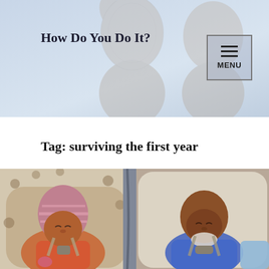How Do You Do It?
Tag: surviving the first year
[Figure (photo): Two newborn babies sleeping in infant car seats side by side. The baby on the left wears a pink striped hat and colorful floral outfit; the baby on the right wears a blue outfit. Both are sleeping. The car seats have puppy-print blankets.]